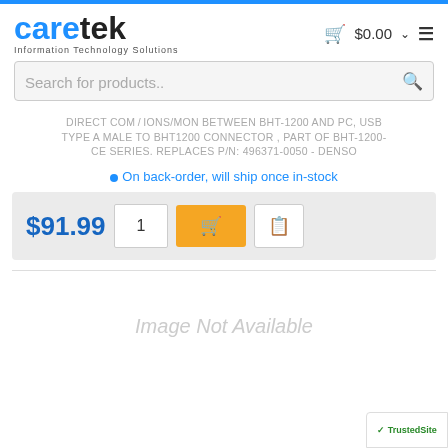caretek - Information Technology Solutions
Search for products..
DIRECT COM / IONS/MON BETWEEN BHT-1200 AND PC, USB TYPE A MALE TO BHT1200 CONNECTOR , PART OF BHT-1200-CE SERIES. REPLACES P/N: 496371-0050 - DENSO
On back-order, will ship once in-stock
$91.99
[Figure (other): Image Not Available placeholder]
[Figure (logo): TrustedSite badge bottom right corner]